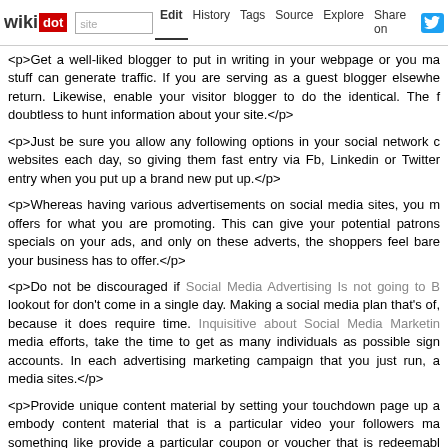wikidot | site | Edit | History | Tags | Source | Explore | Share on [Twitter]
<p>Get a well-liked blogger to put in writing in your webpage or you ma stuff can generate traffic. If you are serving as a guest blogger elsewhe return. Likewise, enable your visitor blogger to do the identical. The f doubtless to hunt information about your site.</p>
<p>Just be sure you allow any following options in your social network c websites each day, so giving them fast entry via Fb, Linkedin or Twitter entry when you put up a brand new put up.</p>
<p>Whereas having various advertisements on social media sites, you m offers for what you are promoting. This can give your potential patrons specials on your ads, and only on these adverts, the shoppers feel bare your business has to offer.</p>
<p>Do not be discouraged if Social Media Advertising Is not going to B lookout for don't come in a single day. Making a social media plan that's of, because it does require time. Inquisitive about Social Media Marketin media efforts, take the time to get as many individuals as possible sign accounts. In each advertising marketing campaign that you just run, a media sites.</p>
<p>Provide unique content material by setting your touchdown page up a embody content material that is a particular video your followers ma something like provide a particular coupon or voucher that is redeemabl content material keeps followers all for what you publish, and it keeps th your web site.</p>
<p>If you're planning on marketing on a social networking site, keep in listening to what they are saying. If only one individual has one sugges